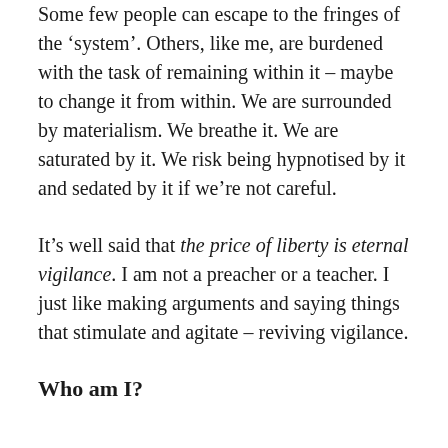Some few people can escape to the fringes of the 'system'. Others, like me, are burdened with the task of remaining within it – maybe to change it from within. We are surrounded by materialism. We breathe it. We are saturated by it. We risk being hypnotised by it and sedated by it if we're not careful.
It's well said that the price of liberty is eternal vigilance. I am not a preacher or a teacher. I just like making arguments and saying things that stimulate and agitate – reviving vigilance.
Who am I?